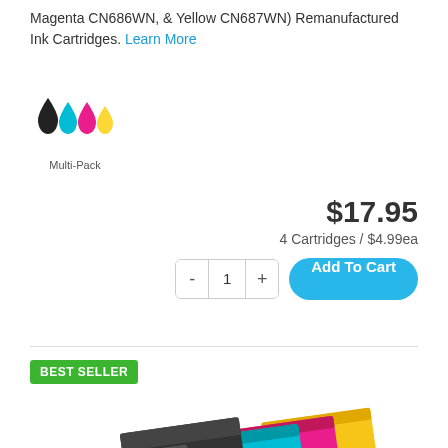Magenta CN686WN, & Yellow CN687WN) Remanufactured Ink Cartridges. Learn More
[Figure (illustration): Four ink drop icons (black, cyan, magenta, yellow) with 'Multi-Pack' label below]
$17.95
4 Cartridges / $4.99ea
- 1 + Add To Cart
[Figure (photo): BEST SELLER badge in green, followed by a photo of multiple ink cartridges (black, cyan, magenta, yellow) fanned out]